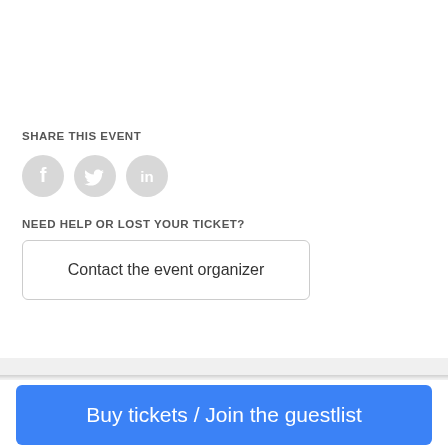SHARE THIS EVENT
[Figure (illustration): Three circular social media share buttons: Facebook (f), Twitter (bird), LinkedIn (in), all in light gray]
NEED HELP OR LOST YOUR TICKET?
Contact the event organizer
Buy tickets / Join the guestlist